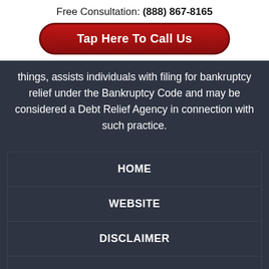Free Consultation: (888) 867-8165
Tap Here To Call Us
things, assists individuals with filing for bankruptcy relief under the Bankruptcy Code and may be considered a Debt Relief Agency in connection with such practice.
HOME
WEBSITE
DISCLAIMER
CONTACT US